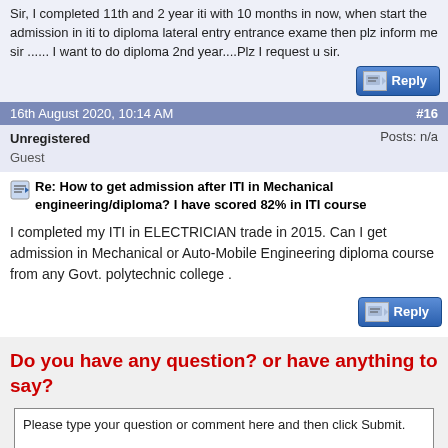Sir, I completed 11th and 2 year iti with 10 months in now, when start the admission in iti to diploma lateral entry entrance exame then plz inform me sir ...... I want to do diploma 2nd year....Plz I request u sir.
16th August 2020, 10:14 AM  #16
Unregistered
Guest
Posts: n/a
Re: How to get admission after ITI in Mechanical engineering/diploma? I have scored 82% in ITI course
I completed my ITI in ELECTRICIAN trade in 2015. Can I get admission in Mechanical or Auto-Mobile Engineering diploma course from any Govt. polytechnic college .
Do you have any question? or have anything to say?
Please type your question or comment here and then click Submit.